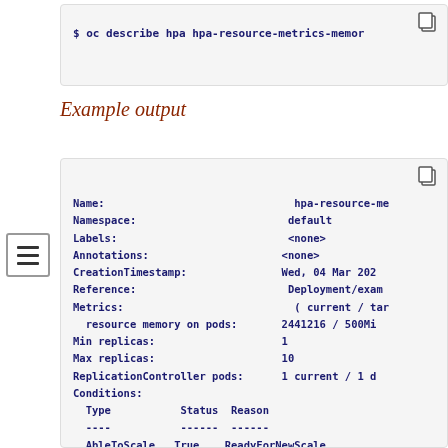[Figure (screenshot): Code snippet box showing: $ oc describe hpa hpa-resource-metrics-memor]
Example output
[Figure (screenshot): Terminal output box showing oc describe hpa command output with fields: Name, Namespace, Labels, Annotations, CreationTimestamp, Reference, Metrics, Min replicas, Max replicas, ReplicationController pods, Conditions with Type/Status/Reason table including AbleToScale True ReadyForNewScale, ScalingActive True ValidMetricFound, ScalingLimited False DesiredWithinRange]